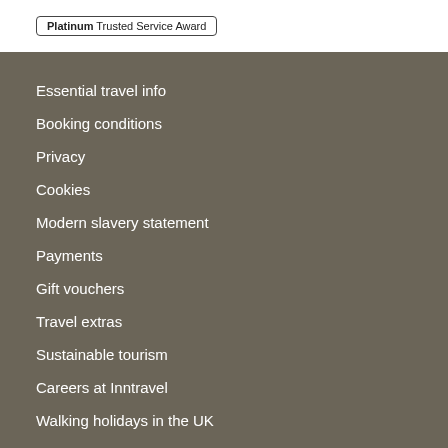[Figure (logo): Platinum Trusted Service Award badge with border]
Essential travel info
Booking conditions
Privacy
Cookies
Modern slavery statement
Payments
Gift vouchers
Travel extras
Sustainable tourism
Careers at Inntravel
Walking holidays in the UK
Walking holidays in Europe